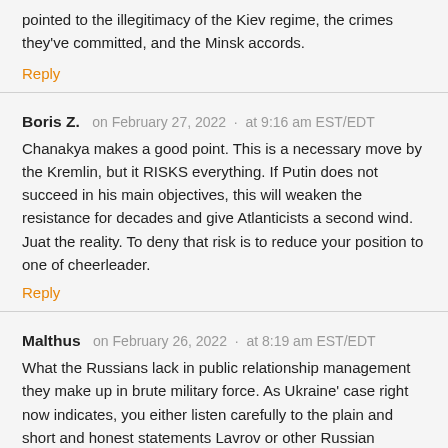pointed to the illegitimacy of the Kiev regime, the crimes they've committed, and the Minsk accords.
Reply
Boris Z.   on February 27, 2022  ·  at 9:16 am EST/EDT
Chanakya makes a good point. This is a necessary move by the Kremlin, but it RISKS everything. If Putin does not succeed in his main objectives, this will weaken the resistance for decades and give Atlanticists a second wind. Juat the reality. To deny that risk is to reduce your position to one of cheerleader.
Reply
Malthus   on February 26, 2022  ·  at 8:19 am EST/EDT
What the Russians lack in public relationship management they make up in brute military force. As Ukraine' case right now indicates, you either listen carefully to the plain and short and honest statements Lavrov or other Russian diplomats make, or else you soon get to hear Valeri Gehrasmiov's roar of Russian battle formations.